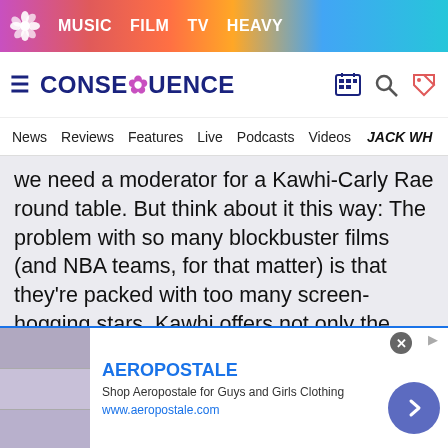MUSIC  FILM  TV  HEAVY
CONSEQUENCE — News  Reviews  Features  Live  Podcasts  Videos  JACK WH
we need a moderator for a Kawhi-Carly Rae round table. But think about it this way: The problem with so many blockbuster films (and NBA teams, for that matter) is that they're packed with too many screen-hogging stars. Kawhi offers not only the benefit of a 7'3" wingspan (or whatever that stretches out to in alien form), but a guy who's going to do the grunt work and not demand too many lines in the script.
AEROPOSTALE — Shop Aeropostale for Guys and Girls Clothing — www.aeropostale.com